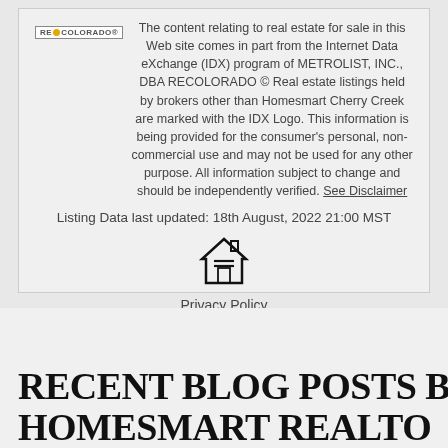The content relating to real estate for sale in this Web site comes in part from the Internet Data eXchange (IDX) program of METROLIST, INC., DBA RECOLORADO © Real estate listings held by brokers other than Homesmart Cherry Creek are marked with the IDX Logo. This information is being provided for the consumer's personal, non-commercial use and may not be used for any other purpose. All information subject to change and should be independently verified. See Disclaimer
Listing Data last updated: 18th August, 2022 21:00 MST
[Figure (illustration): Equal Housing Opportunity logo — house outline with equal sign inside]
Privacy Policy
Service by Buying Buddy® IDX CRM
Copyright © 2003 - 2022 Buying Buddy. All rights reserved.
RECENT BLOG POSTS BY